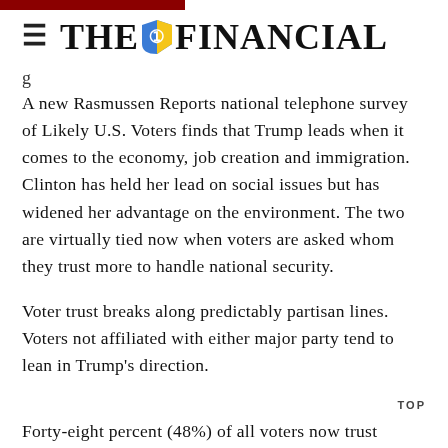THE FINANCIAL
A new Rasmussen Reports national telephone survey of Likely U.S. Voters finds that Trump leads when it comes to the economy, job creation and immigration. Clinton has held her lead on social issues but has widened her advantage on the environment. The two are virtually tied now when voters are asked whom they trust more to handle national security.
Voter trust breaks along predictably partisan lines. Voters not affiliated with either major party tend to lean in Trump's direction.
Forty-eight percent (48%) of all voters now trust